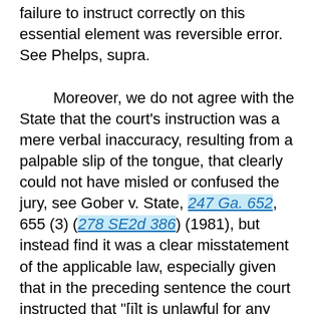failure to instruct correctly on this essential element was reversible error. See Phelps, supra.

Moreover, we do not agree with the State that the court's instruction was a mere verbal inaccuracy, resulting from a palpable slip of the tongue, that clearly could not have misled or confused the jury, see Gober v. State, 247 Ga. 652, 655 (3) (278 SE2d 386) (1981), but instead find it was a clear misstatement of the applicable law, especially given that in the preceding sentence the court instructed that "[i]t is unlawful for any person to possess, have under their control, distribute or possess with intent to distribute cocaine." Taken